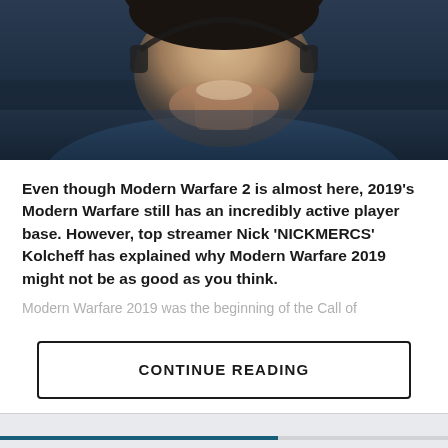[Figure (photo): Close-up photo of a man smiling, wearing a blue jacket and headset with a gold chain visible]
Even though Modern Warfare 2 is almost here, 2019's Modern Warfare still has an incredibly active player base. However, top streamer Nick 'NICKMERCS' Kolcheff has explained why Modern Warfare 2019 might not be as good as you think.
Modern Warfare 2019 was the beginning of the Call of
CONTINUE READING